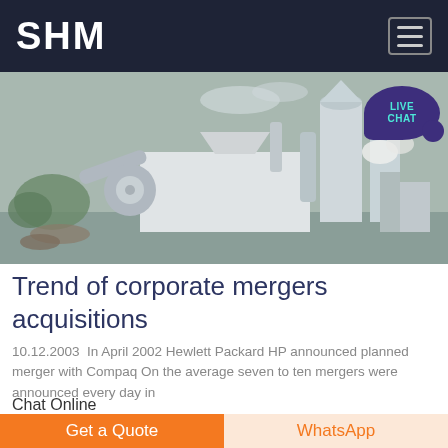SHM
[Figure (photo): Industrial machinery / grinding equipment with silos and conveyors, outdoor setting]
Trend of corporate mergers acquisitions
10.12.2003  In April 2002 Hewlett Packard HP announced planned merger with Compaq On the average seven to ten mergers were announced every day in
Chat Online
[Figure (photo): Partial view of industrial site / machinery, bottom strip]
Get a Quote
WhatsApp